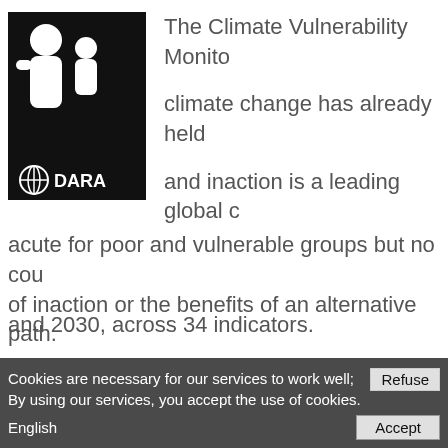[Figure (logo): Climate Vulnerability Monitor / DARA logo — black and white graphic with stylized human figures and DARA wordmark]
The Climate Vulnerability Monitor climate change has already held and inaction is a leading global c acute for poor and vulnerable groups but no cou of inaction or the benefits of an alternative path.
Commissioned by the world's most vulnerable co level and technical panels, the new Monitor estim impacts of climate change and the carbon econo and 2030, across 34 indicators.
Cookies are necessary for our services to work well; By using our services, you accept the use of cookies.
English
Refuse
Accept